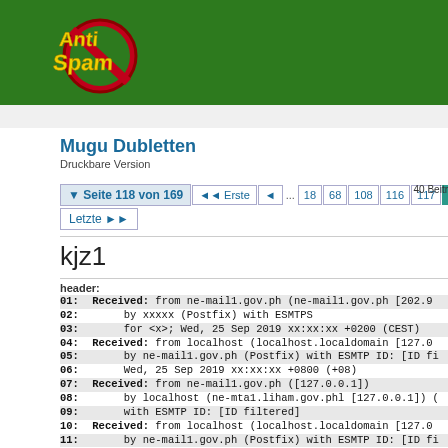[Figure (logo): Anti-Spam logo: yellow stylized text 'Anti Spam' on green background with red circle/slash]
Mugu Dubletten
Druckbare Version
40 Beitr
Seite 118 von 169   Erste  18  68  108  116  117  11  ...  Letzte
kjz1
header:
01:  Received: from ne-mail1.gov.ph (ne-mail1.gov.ph [202.9
02:       by xxxxx (Postfix) with ESMTPS
03:       for <x>; Wed, 25 Sep 2019 xx:xx:xx +0200 (CEST)
04:  Received: from localhost (localhost.localdomain [127.0
05:       by ne-mail1.gov.ph (Postfix) with ESMTP ID: [ID fi
06:       Wed, 25 Sep 2019 xx:xx:xx +0800 (+08)
07:  Received: from ne-mail1.gov.ph ([127.0.0.1])
08:       by localhost (ne-mta1.liham.gov.phl [127.0.0.1]) (
09:       with ESMTP ID: [ID filtered]
10:  Received: from localhost (localhost.localdomain [127.0
11:       by ne-mail1.gov.ph (Postfix) with ESMTP ID: [ID fi
12:       Wed, 25 Sep 2019 xx:xx:xx +0800 (+08)
13:  X-Virus-Scanned: amavisd-new at ne-mta1.liham.gov.phl
14:  Received: from ne-mail1.gov.ph ([127.0.0.1])
15:       by localhost (ne-mta1.liham.gov.0.1]) (
16:       with ESMTP ID: [ID filtered]